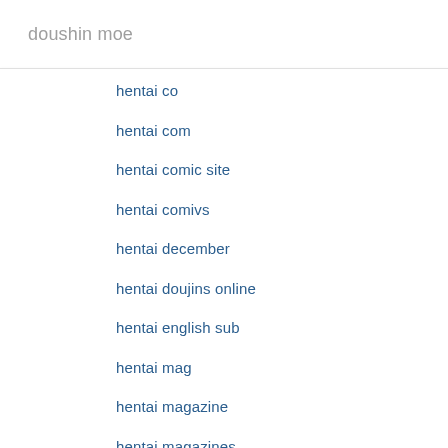doushin moe
hentai co
hentai com
hentai comic site
hentai comivs
hentai december
hentai doujins online
hentai english sub
hentai mag
hentai magazine
hentai magazines